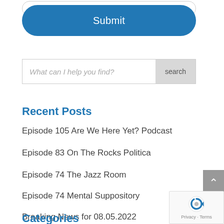[Figure (screenshot): Submit button — blue rounded rectangle with white text 'Submit']
[Figure (screenshot): Search input field with placeholder 'What can I help you find?' and a grey 'search' button on the right]
Recent Posts
Episode 105 Are We Here Yet? Podcast
Episode 83 On The Rocks Politica
Episode 74 The Jazz Room
Episode 74 Mental Suppository
Breaking News for 08.05.2022
Categories